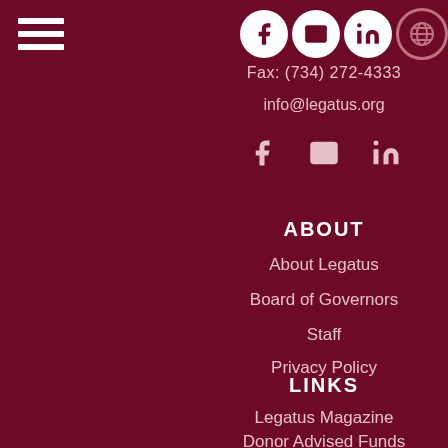[Figure (other): Hamburger menu icon (three horizontal white lines) in top left corner]
[Figure (other): Top navigation icons: Facebook, Email, LinkedIn, Globe — white circles on dark red background]
Fax: (734) 272-4333
info@legatus.org
[Figure (other): Social media icons row: Facebook, Email/Envelope, LinkedIn]
ABOUT
About Legatus
Board of Governors
Staff
Privacy Policy
LINKS
Legatus Magazine
Donor Advised Funds